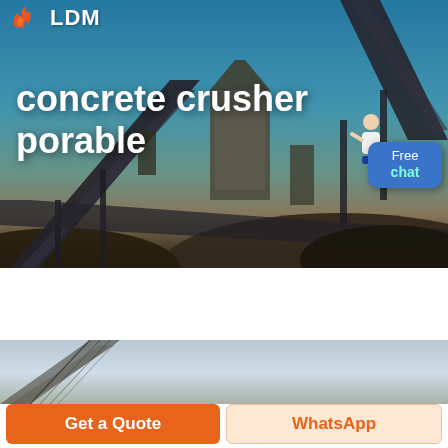[Figure (photo): Industrial concrete crusher/conveyor belt plant with sky background, dark machinery and aggregate piles, with LDM logo and 'concrete crusher porable' title overlay, plus Free chat button with person illustration]
concrete crusher porable
[Figure (photo): Partial view of industrial conveyor belt machinery against light grey sky]
Get a Quote
WhatsApp